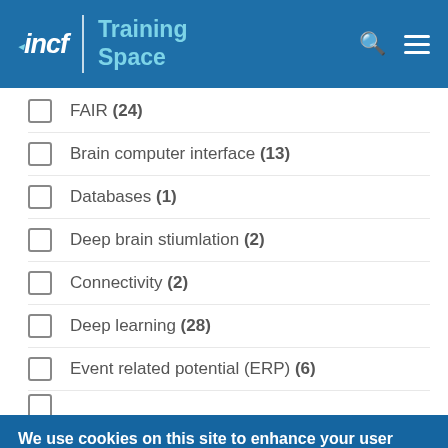incf | Training Space
FAIR (24)
Brain computer interface (13)
Databases (1)
Deep brain stiumlation (2)
Connectivity (2)
Deep learning (28)
Event related potential (ERP) (6)
We use cookies on this site to enhance your user experience
By clicking any link or button on the website the visitor accepts the cookie policy. More info
Accept  No, thanks